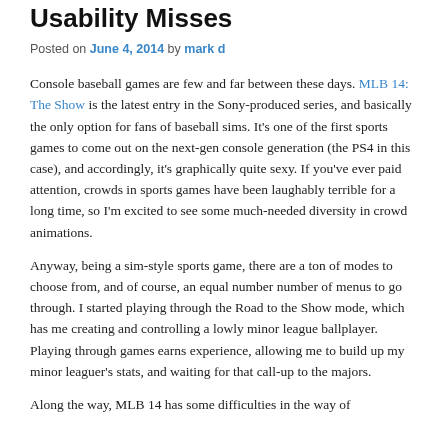Usability Misses
Posted on June 4, 2014 by mark d
Console baseball games are few and far between these days. MLB 14: The Show is the latest entry in the Sony-produced series, and basically the only option for fans of baseball sims. It's one of the first sports games to come out on the next-gen console generation (the PS4 in this case), and accordingly, it's graphically quite sexy. If you've ever paid attention, crowds in sports games have been laughably terrible for a long time, so I'm excited to see some much-needed diversity in crowd animations.
Anyway, being a sim-style sports game, there are a ton of modes to choose from, and of course, an equal number number of menus to go through. I started playing through the Road to the Show mode, which has me creating and controlling a lowly minor league ballplayer. Playing through games earns experience, allowing me to build up my minor leaguer's stats, and waiting for that call-up to the majors.
Along the way, MLB 14 has some difficulties in the way of